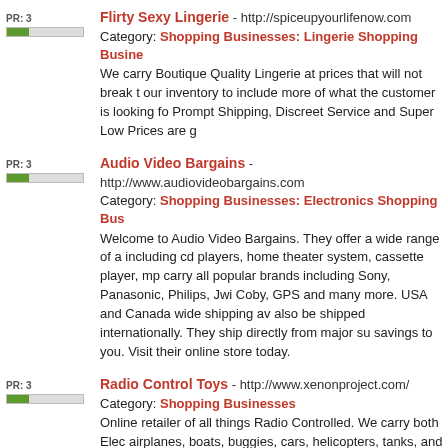Flirty Sexy Lingerie - http://spiceupyourlifenow.com
Category: Shopping Businesses: Lingerie Shopping Businesses
We carry Boutique Quality Lingerie at prices that will not break our inventory to include more of what the customer is looking for. Prompt Shipping, Discreet Service and Super Low Prices are g...
Audio Video Bargains - http://www.audiovideobargains.com
Category: Shopping Businesses: Electronics Shopping Businesses
Welcome to Audio Video Bargains. They offer a wide range of audio video equipment including cd players, home theater system, cassette player, mp3 players. They carry all popular brands including Sony, Panasonic, Philips, Jwi... Coby, GPS and many more. USA and Canada wide shipping av... also be shipped internationally. They ship directly from major s... savings to you. Visit their online store today.
Radio Control Toys - http://www.xenonproject.com/
Category: Shopping Businesses
Online retailer of all things Radio Controlled. We carry both Elec... airplanes, boats, buggies, cars, helicopters, tanks, and trucks.
UniformsforMartialArts.com - http://www.uniformsformartialar...
Category: Sport Businesses: Martial Art Businesses
Here you will find what you won't find in other martial arts unifo... choices, including camouflage and white camouflage, a wide ra... large and very small, many tops and bottoms sold separately al... and match for size and color, a huge selection of demo team u... arts cargo pants and cargo shorts. We also carry martial arts sh... colors!